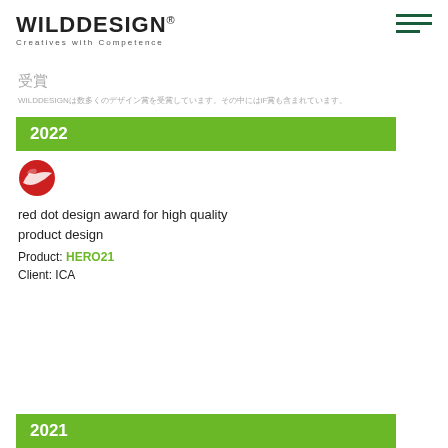WILD DESIGN® Creatives with Competence
受賞
WILDDESIGNは数多くのデザイン賞を受賞しています。その中にはiF賞も含まれています。
2022
[Figure (logo): Red Dot Design Award logo - red sphere with white diagonal stripe]
red dot design award for high quality product design
Product: HERO21
Client: ICA
2021